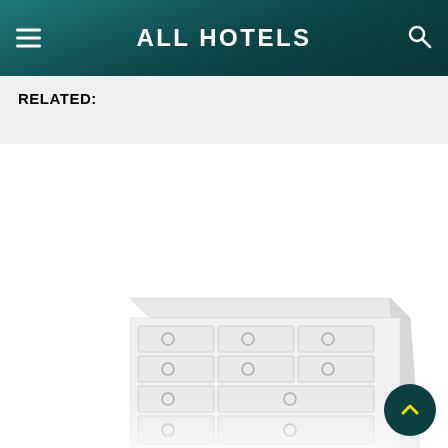ALL HOTELS
RELATED:
[Figure (photo): A white wooden chest of drawers / dresser with multiple drawers featuring circular ring pulls, shown from a slight angle. The image is partially visible, cropped at the bottom of the page.]